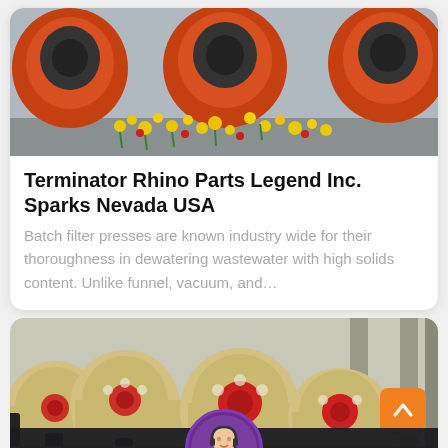[Figure (photo): Industrial machinery with large orange cylindrical components and yellow flowers in background]
Terminator Rhino Parts Legend Inc. Sparks Nevada USA
Batch filter presses are known industry wide for their thoroughness in dewatering wastewater with high solids content. Unlike funnel, vacuum, and...
[Figure (photo): Yellow and red industrial jaw crusher machines in a factory setting]
Leave Message
Chat Online